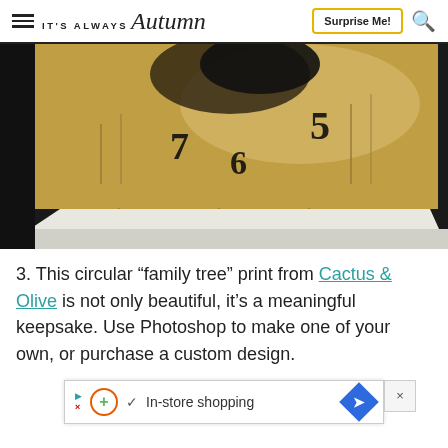IT'S ALWAYS Autumn — Surprise Me! [search]
[Figure (photo): Close-up photo of a decorative tile or framed print featuring a nature/grassland background with clock numbers 5, 6, 7 visible, displayed on a plate stand on a dark surface]
3. This circular “family tree” print from Cactus & Olive is not only beautiful, it’s a meaningful keepsake. Use Photoshop to make one of your own, or purchase a custom design.
[Figure (infographic): Advertisement banner: play icon, orange circle with plus sign, green checkmark, 'In-store shopping' text, blue diamond arrow icon]